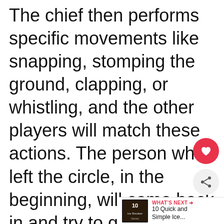The chief then performs specific movements like snapping, stomping the ground, clapping, or whistling, and the other players will match these actions. The person who left the circle, in the beginning, will come back in and try to guess who the chief is by figuring out who everyone is copying.
[Figure (other): UI overlay with heart (save) button and share button]
[Figure (other): What's Next bar showing thumbnail and title '10 Quick and Simple Ice...']